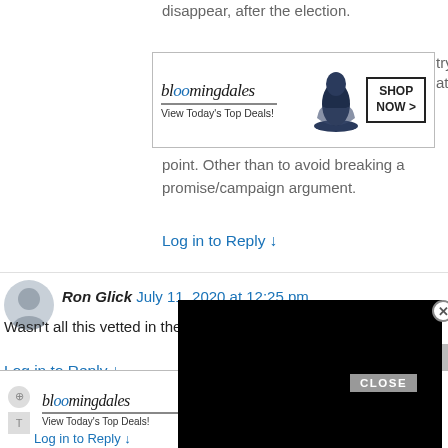disappear, after the election.
[Figure (other): Bloomingdale's advertisement banner: logo, 'View Today's Top Deals!', hat photo, 'SHOP NOW >']
trying at this point. Other than to avoid breaking a promise/campaign argument.
Log in to Reply ↓
Ron Glick July 11, 2020 at 12:25 pm
Wasn't all this vetted in the ballot a
Log in to Reply ↓
Tia Will July 11, 2020 at 12
Don,
Except for the fact that we had no way of knowing that would be the outcome prior to the vote, and the vote was based on an incomplete understanding of the full implications, correct as written
[Figure (other): Bloomingdale's advertisement banner at bottom of page]
Log in to Reply ↓